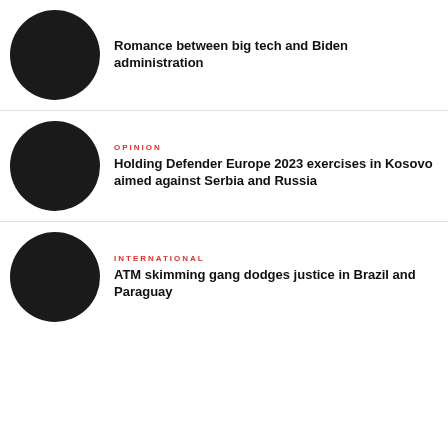[Figure (photo): Black circle thumbnail image for first article]
Romance between big tech and Biden administration
[Figure (photo): Black circle thumbnail image for second article]
OPINION
Holding Defender Europe 2023 exercises in Kosovo aimed against Serbia and Russia
[Figure (photo): Black circle thumbnail image for third article]
INTERNATIONAL
ATM skimming gang dodges justice in Brazil and Paraguay